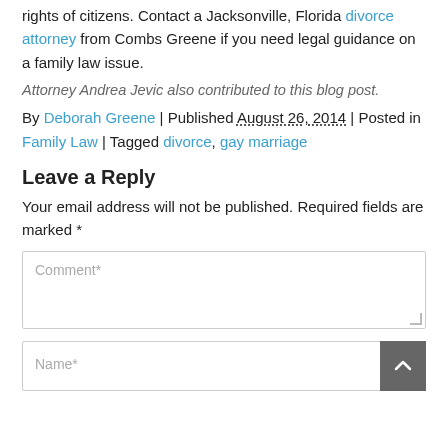rights of citizens. Contact a Jacksonville, Florida divorce attorney from Combs Greene if you need legal guidance on a family law issue.
Attorney Andrea Jevic also contributed to this blog post.
By Deborah Greene | Published August 26, 2014 | Posted in Family Law | Tagged divorce, gay marriage
Leave a Reply
Your email address will not be published. Required fields are marked *
[Figure (other): Comment text area input field with placeholder text 'Comment*']
[Figure (other): Name text input field with placeholder text 'Name*' and a scroll-to-top button on the right]